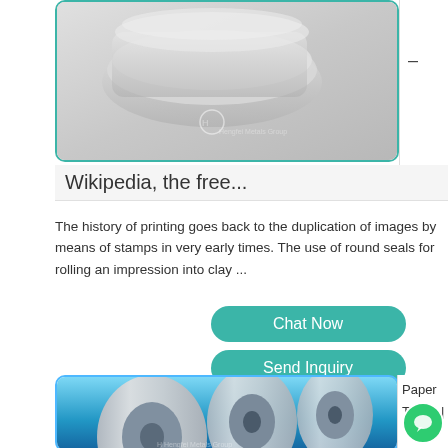[Figure (photo): Aluminum food trays/containers stacked, with a manufacturer watermark logo]
Wikipedia, the free...
The history of printing goes back to the duplication of images by means of stamps in very early times. The use of round seals for rolling an impression into clay ...
[Figure (other): Two teal rounded-rectangle buttons: 'Chat Now' and 'Send Inquiry']
[Figure (photo): Aluminum foil rolls on a blue gradient background, manufacturer watermark at bottom]
Paper
Terms |